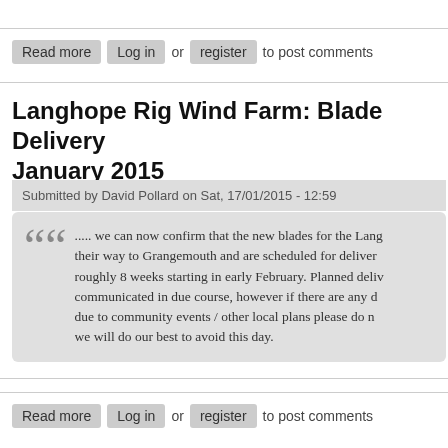Read more  Log in or register to post comments
Langhope Rig Wind Farm: Blade Delivery January 2015
Submitted by David Pollard on Sat, 17/01/2015 - 12:59
..... we can now confirm that the new blades for the Lang... their way to Grangemouth and are scheduled for deliver... roughly 8 weeks starting in early February. Planned deliv... communicated in due course, however if there are any d... due to community events / other local plans please do n... we will do our best to avoid this day.
Read more  Log in or register to post comments